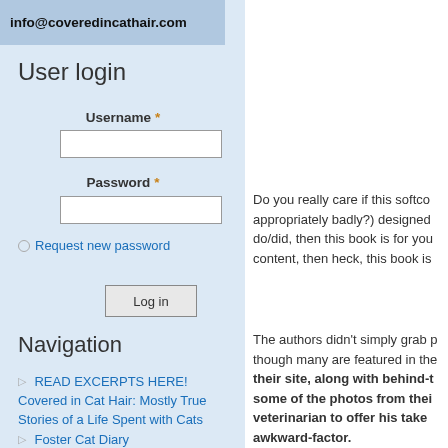[Figure (screenshot): Header image with email address info@coveredincathair.com on a light blue/grey background]
User login
Username *
Password *
Request new password
Log in
Navigation
READ EXCERPTS HERE! Covered in Cat Hair: Mostly True Stories of a Life Spent with Cats
Foster Cat Diary
Do you really care if this softco appropriately badly?) designed do/did, then this book is for you content, then heck, this book is
The authors didn't simply grab p though many are featured in the their site, along with behind-t some of the photos from thei veterinarian to offer his take awkward-factor.